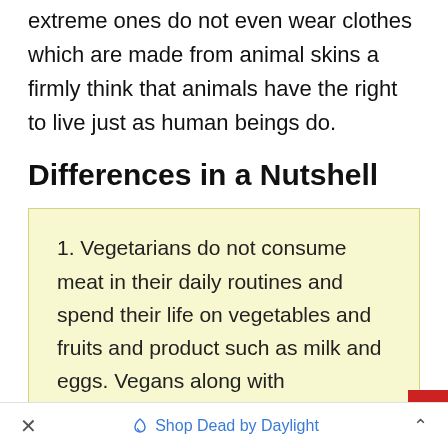extreme ones do not even wear clothes which are made from animal skins a firmly think that animals have the right to live just as human beings do.
Differences in a Nutshell
1. Vegetarians do not consume meat in their daily routines and spend their life on vegetables and fruits and product such as milk and eggs. Vegans along with abandoning meat from
× Shop Dead by Daylight ^